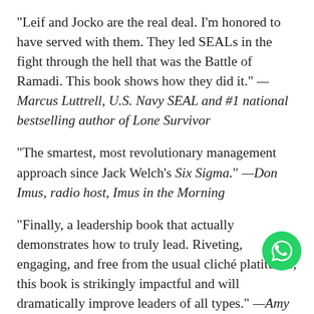“Leif and Jocko are the real deal. I’m honored to have served with them. They led SEALs in the fight through the hell that was the Battle of Ramadi. This book shows how they did it.” —Marcus Luttrell, U.S. Navy SEAL and #1 national bestselling author of Lone Survivor
“The smartest, most revolutionary management approach since Jack Welch’s Six Sigma.” —Don Imus, radio host, Imus in the Morning
“Finally, a leadership book that actually demonstrates how to truly lead. Riveting, engaging, and free from the usual cliché platitudes, this book is strikingly impactful and will dramatically improve leaders of all types.” —Amy Brandt Schumacher, entrepreneur, executive, and philanthropist
“Extreme Ownership provides huge value for leaders at
[Figure (logo): WhatsApp green circular button icon]